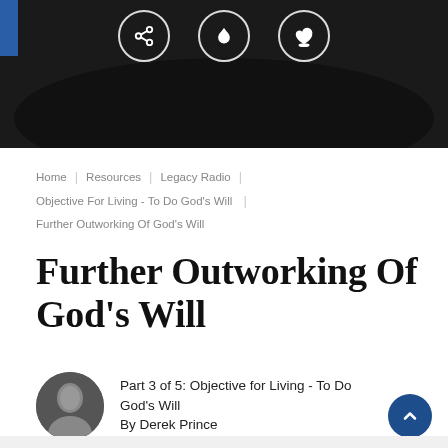[Figure (illustration): Dark navigation banner with share, flame, and heart-hand icons in white circle outlines, blue accent on top-left corner]
Home | Resources | Legacy Radio | Objective For Living - To Do God's Will | Further Outworking Of God's Will
Further Outworking Of God's Will
Part 3 of 5: Objective for Living - To Do God's Will
By Derek Prince